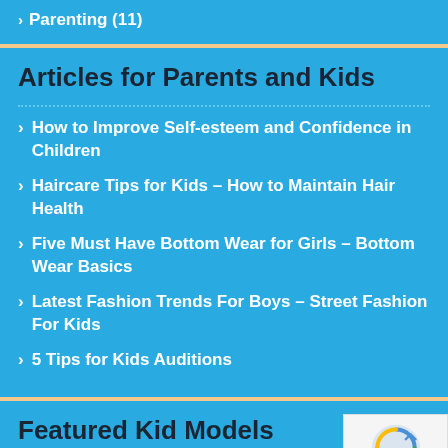Parenting (11)
Articles for Parents and Kids
How to Improve Self-esteem and Confidence in Children
Haircare Tips for Kids – How to Maintain Hair Health
Five Must Have Bottom Wear for Girls – Bottom Wear Basics
Latest Fashion Trends For Boys – Street Fashion For Kids
5 Tips for Kids Auditions
Featured Kid Models
Nirvaan Singhal